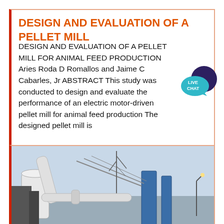DESIGN AND EVALUATION OF A PELLET MILL
DESIGN AND EVALUATION OF A PELLET MILL FOR ANIMAL FEED PRODUCTION Aries Roda D Romallos and Jaime C Cabarles, Jr ABSTRACT This study was conducted to design and evaluate the performance of an electric motor-driven pellet mill for animal feed production The designed pellet mill is ,
[Figure (other): Live chat speech bubble icon with dark purple circle and teal bubble labeled LIVE CHAT]
[Figure (other): Blue button/widget labeled Sales Online]
[Figure (photo): Industrial facility photo showing large pipes, tanks, scaffolding and equipment against a light blue sky]